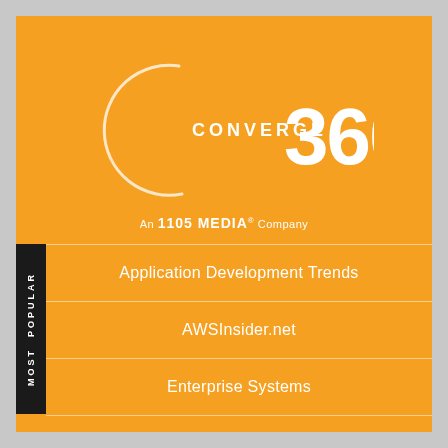[Figure (logo): Converge 360 logo with stylized C arc and large '360' text in white on orange background]
An 1105 MEDIA® Company
MOST POPULAR
Application Development Trends
AWSInsider.net
Enterprise Systems
FutureTech360
Live! 360